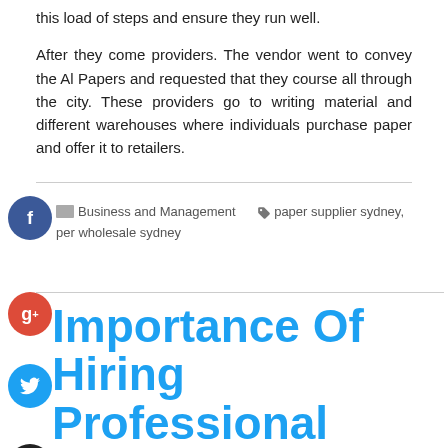this load of steps and ensure they run well.
After they come providers. The vendor went to convey the Al Papers and requested that they course all through the city. These providers go to writing material and different warehouses where individuals purchase paper and offer it to retailers.
Business and Management   paper supplier sydney, per wholesale sydney
Importance Of Hiring Professional Window Cleaners In Gold